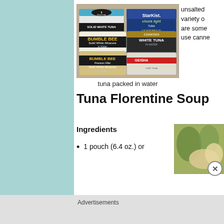unsalted variety o are some use canne
[Figure (photo): Multiple cans of tuna (3 Diamonds Solid White Tuna, StarKist Chunk Light, Bumble Bee Solid White Albacore in Water, 3 Diamonds White Tuna in Water, Geisha, Bumble Bee Solid White Albacore) stacked together on a wooden surface]
tuna packed in water
Tuna Florentine Soup
Ingredients
1 pouch (6.4 oz.) or
[Figure (photo): Close-up photo of food with green basil leaves and light-colored ingredients]
Advertisements